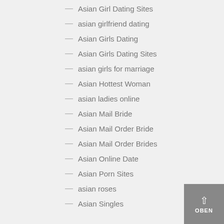Asian Girl Dating Sites
asian girlfriend dating
Asian Girls Dating
Asian Girls Dating Sites
asian girls for marriage
Asian Hottest Woman
asian ladies online
Asian Mail Bride
Asian Mail Order Bride
Asian Mail Order Brides
Asian Online Date
Asian Porn Sites
asian roses
Asian Singles